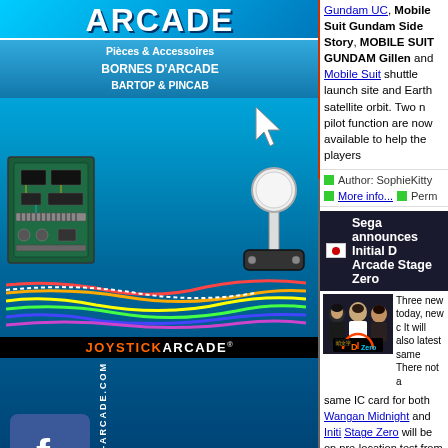[Figure (advertisement): Joystick Arcade advertisement banner for arcade parts and accessories, showing circuit board, joystick, cables, logo, and Facebook icon. URL: www.joystick-arcade.com]
Gundam UC, Mobile Suit Gundam Side Story, MOBILE SUIT GUNDAM Gillen and Mobile Suit shuttle launch site and Earth satellite orbit. Two new pilot function are now available to help the players
Author: SophieKitty   More info...   Perm
Sega announces Initial D Arcade Stage Zero
[Figure (photo): Initial D Arcade Stage Zero promotional image showing three anime characters and the game logo with a speedometer]
Three new today, new c It will also latest same There not a same IC card for both Wangan Midnight and Initi Stage Zero will be on pre-location test from Augu Sega Shinjuku Nishiguchi and Sega Akihabara attack and on August 5 and 7: Nationwide compe will be sorted into teams according to the game ce 1-6: Red Suns 001, players 7-12: Red Suns 002, Akina Speed Stars: Club Sega Shinjuku Nishigu